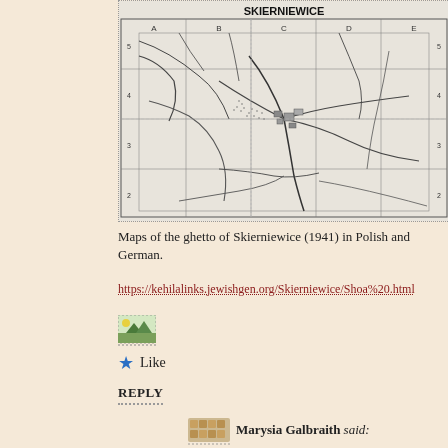[Figure (map): Black and white map of the ghetto of Skierniewice (1941), showing a grid overlay with letters A-E across the top and numbers 2-5 along the sides. Roads, paths, and buildings are sketched in pencil or ink style. The title 'SKIERNIEWICE' appears at the top center.]
Maps of the ghetto of Skierniewice (1941) in Polish and German.
https://kehilalinks.jewishgen.org/Skierniewice/Shoa%20.html
[Figure (photo): Small avatar/thumbnail image of a person, shown with dotted border below]
Like
REPLY
Marysia Galbraith said: